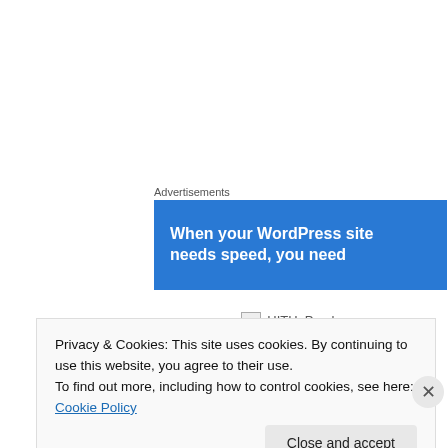Advertisements
[Figure (screenshot): Blue advertisement banner with white bold text: 'When your WordPress site needs speed, you need']
[Figure (screenshot): Broken image placeholder labeled HITH_Purchase]
PURCHASE NOW
Privacy & Cookies: This site uses cookies. By continuing to use this website, you agree to their use.
To find out more, including how to control cookies, see here: Cookie Policy
Close and accept